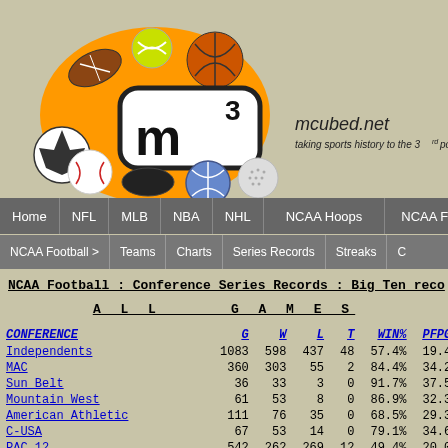[Figure (logo): mcubed.net logo with sports balls (football, tennis, basketball, soccer, baseball, hockey puck, volleyball, golf ball) surrounding an orange m-cubed logo. Text: mcubed.net, taking sports history to the 3rd power!]
Home | NFL | MLB | NBA | NHL | NCAA Hoops | NCAA Football
NCAA Football > | Teams | Charts | Series Records | Streaks | C
NCAA Football : Conference Series Records : Big Ten reco
A L L   G A M E S
| CONFERENCE | G | W | L | T | WIN% | PFPG | P |
| --- | --- | --- | --- | --- | --- | --- | --- |
| Independents | 1083 | 598 | 437 | 48 | 57.4% | 19.4 | 1 |
| MAC | 360 | 303 | 55 | 2 | 84.4% | 34.2 | 1 |
| Sun Belt | 36 | 33 | 3 | 0 | 91.7% | 37.5 | 1 |
| Mountain West | 61 | 53 | 8 | 0 | 86.9% | 32.3 | 1 |
| American Athletic | 111 | 76 | 35 | 0 | 68.5% | 29.3 | 2 |
| C-USA | 67 | 53 | 14 | 0 | 79.1% | 34.6 | 2 |
| PAC 12 | 542 | 262 | 269 | 12 | 49.4% | 20.0 |  |